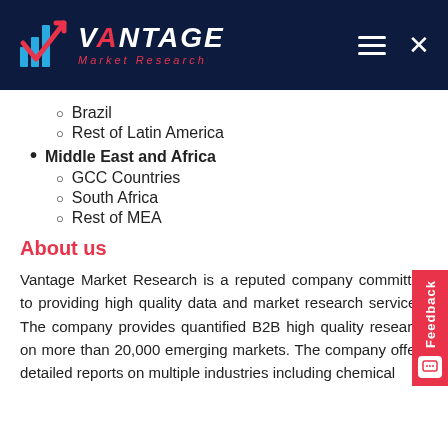Vantage Market Research
Brazil
Rest of Latin America
Middle East and Africa
GCC Countries
South Africa
Rest of MEA
About us
Vantage Market Research is a reputed company committed to providing high quality data and market research services. The company provides quantified B2B high quality research on more than 20,000 emerging markets. The company offers detailed reports on multiple industries including chemical